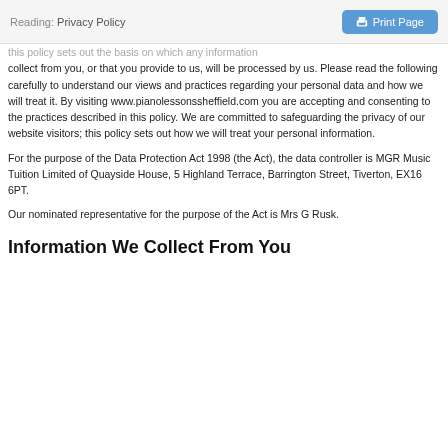Reading: Privacy Policy | Print Page
this policy sets out the basis on which any collect from you, or that you provide to us, will be processed by us. Please read the following carefully to understand our views and practices regarding your personal data and how we will treat it. By visiting www.pianolessonssheffield.com you are accepting and consenting to the practices described in this policy. We are committed to safeguarding the privacy of our website visitors; this policy sets out how we will treat your personal information.
For the purpose of the Data Protection Act 1998 (the Act), the data controller is MGR Music Tuition Limited of Quayside House, 5 Highland Terrace, Barrington Street, Tiverton, EX16 6PT.
Our nominated representative for the purpose of the Act is Mrs G Rusk.
Information We Collect From You